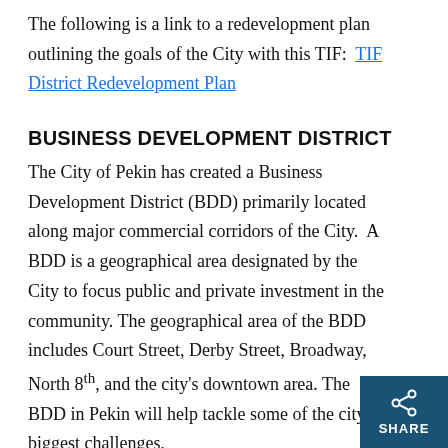The following is a link to a redevelopment plan outlining the goals of the City with this TIF:  TIF District Redevelopment Plan
BUSINESS DEVELOPMENT DISTRICT
The City of Pekin has created a Business Development District (BDD) primarily located along major commercial corridors of the City.  A BDD is a geographical area designated by the City to focus public and private investment in the community. The geographical area of the BDD includes Court Street, Derby Street, Broadway, North 8th, and the city's downtown area. The BDD in Pekin will help tackle some of the city's biggest challenges,